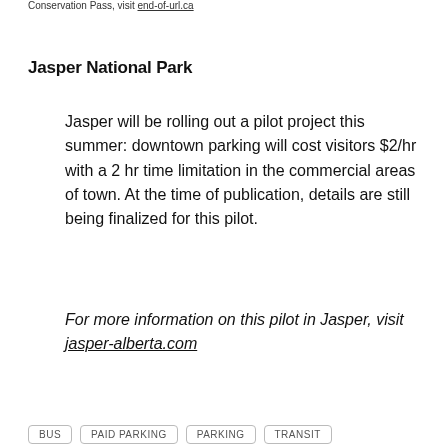Conservation Pass, visit end-of-url.ca
Jasper National Park
Jasper will be rolling out a pilot project this summer: downtown parking will cost visitors $2/hr with a 2 hr time limitation in the commercial areas of town. At the time of publication, details are still being finalized for this pilot.
For more information on this pilot in Jasper, visit jasper-alberta.com
BUS
PAID PARKING
PARKING
TRANSIT